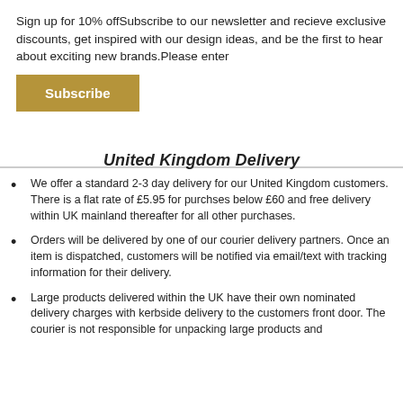Sign up for 10% offSubscribe to our newsletter and recieve exclusive discounts, get inspired with our design ideas, and be the first to hear about exciting new brands.Please enter
Subscribe
United Kingdom Delivery
We offer a standard 2-3 day delivery for our United Kingdom customers. There is a flat rate of £5.95 for purchses below £60 and free delivery within UK mainland thereafter for all other purchases.
Orders will be delivered by one of our courier delivery partners. Once an item is dispatched, customers will be notified via email/text with tracking information for their delivery.
Large products delivered within the UK have their own nominated delivery charges with kerbside delivery to the customers front door. The courier is not responsible for unpacking large products and